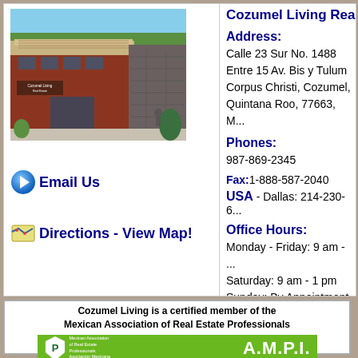[Figure (photo): Exterior photo of Cozumel Living Real Estate office building, a modern two-story structure with dark red/brown facade and stone accent wall]
Email Us
Directions - View Map!
Cozumel Living Real E...
Address:
Calle 23 Sur No. 1488
Entre 15 Av. Bis y Tulum
Corpus Christi, Cozumel,
Quintana Roo, 77663, M...
Phones:
987-869-2345
Fax:1-888-587-2040
USA - Dallas: 214-230-6...
Office Hours:
Monday - Friday: 9 am - ...
Saturday: 9 am - 1 pm
Sunday: By Appointment
Cozumel Living is a certified member of the Mexican Association of Real Estate Professionals
[Figure (logo): AMPI (Mexican Association of Real Estate Professionals) green banner logo with emblem on left and A.M.P.I. text on right]